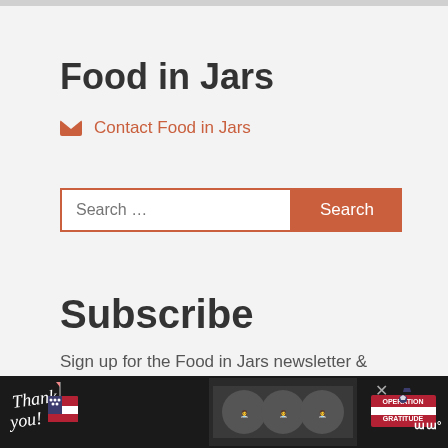Food in Jars
Contact Food in Jars
[Figure (other): Search input box with orange border and Search button]
Subscribe
Sign up for the Food in Jars newsletter & get my Beginner's Canning Guide!
[Figure (other): Advertisement banner at bottom: Operation Gratitude thank you ad with nurses holding packages, close button, and weather icon]